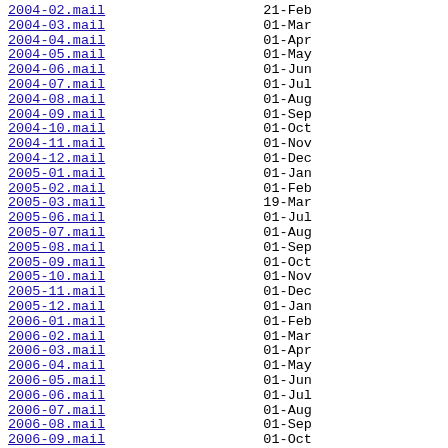2004-02.mail  21-Feb
2004-03.mail  01-Mar
2004-04.mail  01-Apr
2004-05.mail  01-May
2004-06.mail  01-Jun
2004-07.mail  01-Jul
2004-08.mail  01-Aug
2004-09.mail  01-Sep
2004-10.mail  01-Oct
2004-11.mail  01-Nov
2004-12.mail  01-Dec
2005-01.mail  01-Jan
2005-02.mail  01-Feb
2005-03.mail  19-Mar
2005-06.mail  01-Jul
2005-07.mail  01-Aug
2005-08.mail  01-Sep
2005-09.mail  01-Oct
2005-10.mail  01-Nov
2005-11.mail  01-Dec
2005-12.mail  01-Jan
2006-01.mail  01-Feb
2006-02.mail  01-Mar
2006-03.mail  01-Apr
2006-04.mail  01-May
2006-05.mail  01-Jun
2006-06.mail  01-Jul
2006-07.mail  01-Aug
2006-08.mail  01-Sep
2006-09.mail  01-Oct